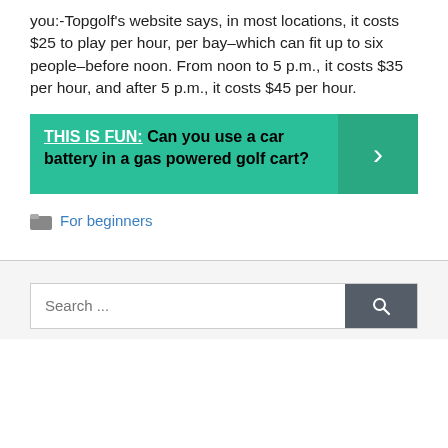you:-Topgolf's website says, in most locations, it costs $25 to play per hour, per bay–which can fit up to six people–before noon. From noon to 5 p.m., it costs $35 per hour, and after 5 p.m., it costs $45 per hour.
THIS IS FUN: Can you use a car battery in a gas powered golf cart?
For beginners
Search ...